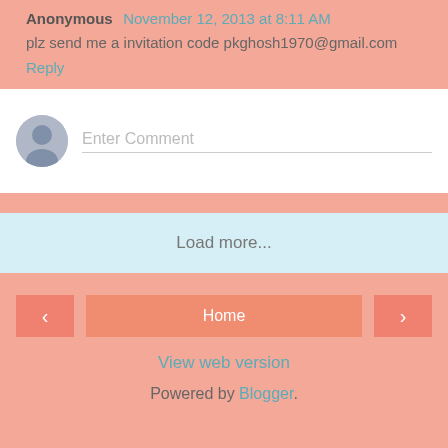Anonymous  November 12, 2013 at 8:11 AM
plz send me a invitation code pkghosh1970@gmail.com
Reply
[Figure (other): Comment input box with user avatar placeholder and 'Enter Comment' text field]
Load more...
< Home >
View web version
Powered by Blogger.